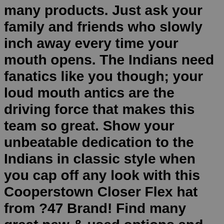many products. Just ask your family and friends who slowly inch away every time your mouth opens. The Indians need fanatics like you though; your loud mouth antics are the driving force that makes this team so great. Show your unbeatable dedication to the Indians in classic style when you cap off any look with this Cooperstown Closer Flex hat from ?47 Brand! Find many great new & used options and get the best deals for '47 Brand Mens MLB Colorado Rockies Black Closer Stretch Hat Cap New at the best online prices at eBay! Free shipping for many products! Shop 47 Brand NFL Pittsburgh Steelers Closer Cap and other name brand Hats & Visors Clothing & Accessories at The Exchange. You've earned the right to shop tax free and enjoy FREE shipping! Eastern Conference. Boston Bruins Buffalo Sabres Carolina Hurricanes Columbus Blue Jackets Detroit Red Wings Florida Panthers Montreal Canadiens New Jersey Devils 47 Brand Oakland A's Trawler 47 Mesh Clean Up Snapback Baseball Cap 100% Cotton Spring 2022 $26.00 47 Brand San